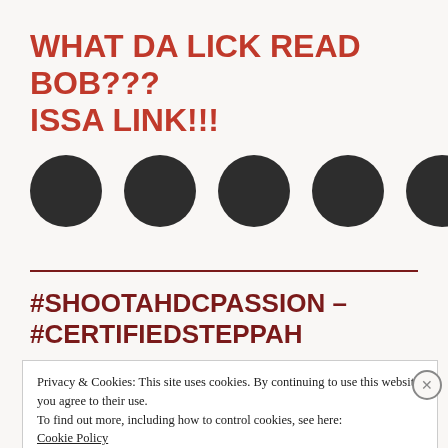WHAT DA LICK READ BOB??? ISSA LINK!!!
[Figure (illustration): Five large dark gray/black circles arranged in a horizontal row, resembling social media profile picture placeholders or loading dots.]
#SHOOTAHDCPASSION – #CERTIFIEDSTEPPAH
Privacy & Cookies: This site uses cookies. By continuing to use this website, you agree to their use.
To find out more, including how to control cookies, see here:
Cookie Policy
Close and accept